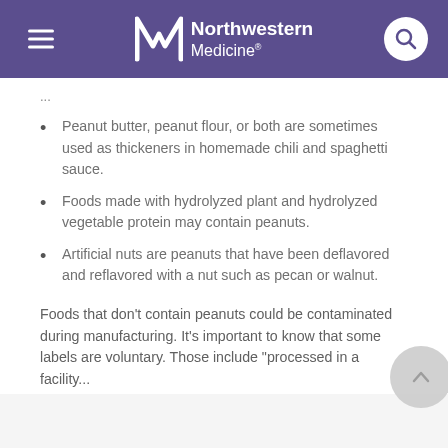Northwestern Medicine
...
Peanut butter, peanut flour, or both are sometimes used as thickeners in homemade chili and spaghetti sauce.
Foods made with hydrolyzed plant and hydrolyzed vegetable protein may contain peanuts.
Artificial nuts are peanuts that have been deflavored and reflavored with a nut such as pecan or walnut.
Foods that don't contain peanuts could be contaminated during manufacturing. It's important to know that some labels are voluntary. These include "processed in a facility..."